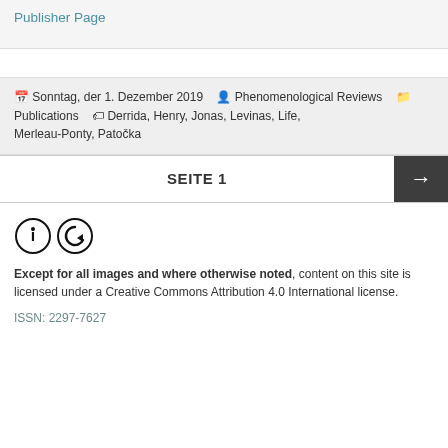Publisher Page
Sonntag, der 1. Dezember 2019  Phenomenological Reviews  Publications  Derrida, Henry, Jonas, Levinas, Life, Merleau-Ponty, Patočka
SEITE 1
[Figure (logo): Creative Commons Attribution and ShareAlike icons]
Except for all images and where otherwise noted, content on this site is licensed under a Creative Commons Attribution 4.0 International license.
ISSN: 2297-7627